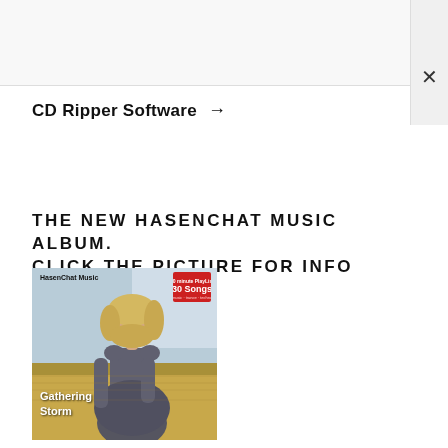CD Ripper Software →
THE NEW HASENCHAT MUSIC ALBUM. CLICK THE PICTURE FOR INFO
[Figure (photo): Album cover for HasenChat Music 'Gathering Storm' showing a young blonde woman from behind in a field setting, with '30 Songs' badge in top right corner]